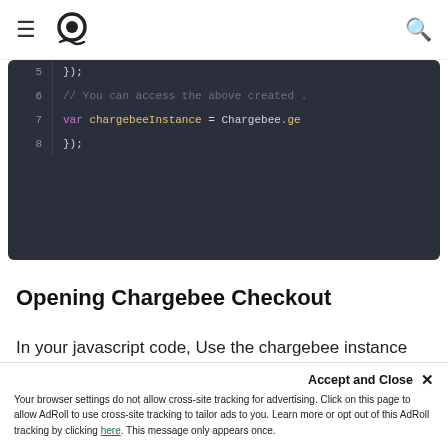Chargebee documentation navigation bar with hamburger menu, logo, and search icon
[Figure (screenshot): Dark code editor showing JavaScript lines 5-8 with var chargebeeInstance = Chargebee.ge...]
Opening Chargebee Checkout
In your javascript code, Use the chargebee instance that was created before in the following way.
JQUERY   VUE
[Figure (screenshot): Dark code editor showing JavaScript line 1 with var chargebeeInstance = Chargebee.getI...]
Accept and Close ✕
Your browser settings do not allow cross-site tracking for advertising. Click on this page to allow AdRoll to use cross-site tracking to tailor ads to you. Learn more or opt out of this AdRoll tracking by clicking here. This message only appears once.